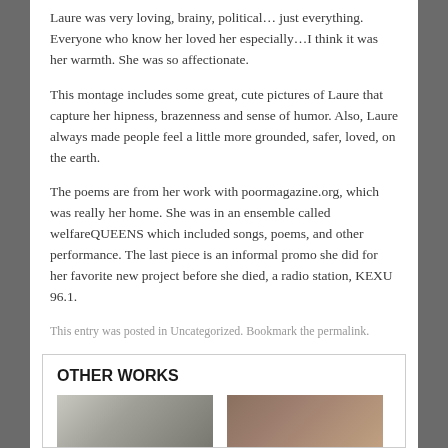Laure was very loving, brainy, political… just everything. Everyone who know her loved her especially…I think it was her warmth. She was so affectionate.
This montage includes some great, cute pictures of Laure that capture her hipness, brazenness and sense of humor. Also, Laure always made people feel a little more grounded, safer, loved, on the earth.
The poems are from her work with poormagazine.org, which was really her home. She was in an ensemble called welfareQUEENS which included songs, poems, and other performance. The last piece is an informal promo she did for her favorite new project before she died, a radio station, KEXU 96.1.
This entry was posted in Uncategorized. Bookmark the permalink.
OTHER WORKS
[Figure (photo): Two thumbnail photos in a row — left: outdoor scene with vehicle, right: person with reddish hair outdoors]